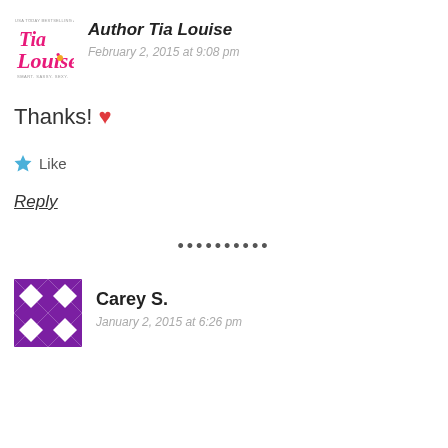[Figure (logo): Tia Louise author logo with pink stylized text and 'Smart. Sassy. Sexy.' tagline]
Author Tia Louise
February 2, 2015 at 9:08 pm
Thanks! ❤
★ Like
Reply
••••••••••
[Figure (illustration): Purple geometric quilt-pattern avatar for Carey S.]
Carey S.
January 2, 2015 at 6:26 pm